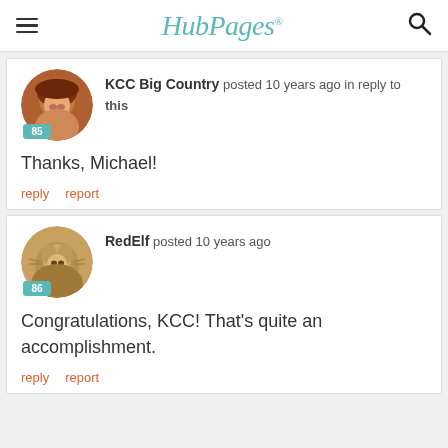HubPages
[Figure (photo): Profile photo of KCC Big Country, a woman with reddish-brown hair, circular avatar with score badge 85]
KCC Big Country posted 10 years ago in reply to this
Thanks, Michael!
reply   report
[Figure (photo): Profile photo of RedElf, a kitten/cat, circular avatar with score badge 86]
RedElf posted 10 years ago
Congratulations, KCC! That's quite an accomplishment.
reply   report